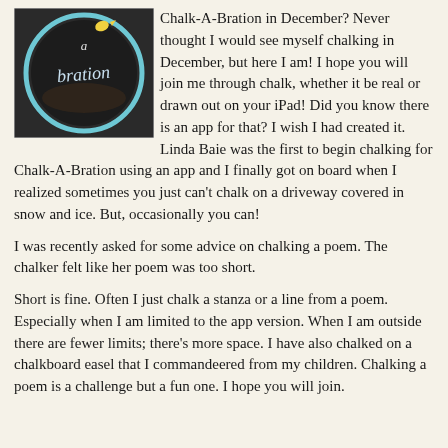[Figure (photo): A circular chalk drawing on a dark background with text 'a bration' in script, enclosed in a light blue circle, with a small yellow element at the top.]
Chalk-A-Bration in December? Never thought I would see myself chalking in December, but here I am! I hope you will join me through chalk, whether it be real or drawn out on your iPad! Did you know there is an app for that? I wish I had created it. Linda Baie was the first to begin chalking for Chalk-A-Bration using an app and I finally got on board when I realized sometimes you just can't chalk on a driveway covered in snow and ice. But, occasionally you can!
I was recently asked for some advice on chalking a poem. The chalker felt like her poem was too short.
Short is fine. Often I just chalk a stanza or a line from a poem. Especially when I am limited to the app version. When I am outside there are fewer limits; there's more space. I have also chalked on a chalkboard easel that I commandeered from my children. Chalking a poem is a challenge but a fun one. I hope you will join.